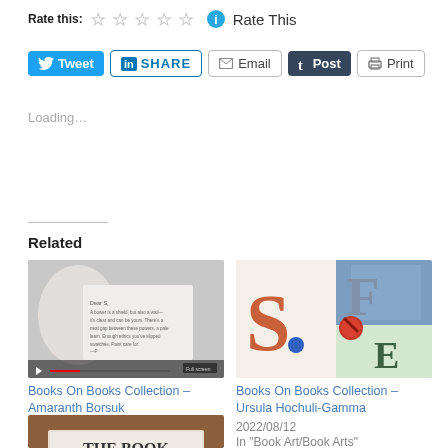Rate this: ★★★★★ ℹ Rate This
[Figure (screenshot): Social sharing buttons: Tweet (Twitter), SHARE (LinkedIn), Email, Post (Tumblr), Print]
Loading...
Related
[Figure (screenshot): Thumbnail for Books On Books Collection – Amaranth Borsuk, showing a video with handwritten text on screen]
Books On Books Collection – Amaranth Borsuk
2017/02/19
In "Artist's book"
[Figure (photo): Thumbnail for Books On Books Collection – Ursula Hochuli-Gamma, showing typographic letterforms S, F, E on colorful backgrounds]
Books On Books Collection – Ursula Hochuli-Gamma
2022/08/12
In "Book Art/Book Arts"
[Figure (photo): Partial thumbnail at bottom showing THE BOOK signage on a brown background]